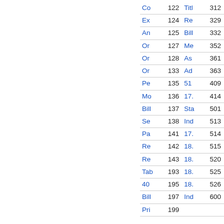| Entry | Page | Entry | Page |
| --- | --- | --- | --- |
| Co | 122 | Titl | 312 |
| Ex | 124 | Re | 329 |
| An | 125 | Bill | 332 |
| Or | 127 | Me | 352 |
| Or | 128 | As | 361 |
| Or | 133 | Ad | 363 |
| Pe | 135 | 51 | 409 |
| Mo | 136 | 17. | 414 |
| Bill | 137 | Sta | 501 |
| Se | 138 | Ind | 513 |
| Pa | 141 | 17. | 514 |
| Re | 142 | 18. | 515 |
| Re | 143 | 18. | 520 |
| Tab | 193 | 18. | 525 |
| 40 | 195 | 18. | 526 |
| Bill | 197 | Ind | 600 |
| Pri | 199 |  |  |